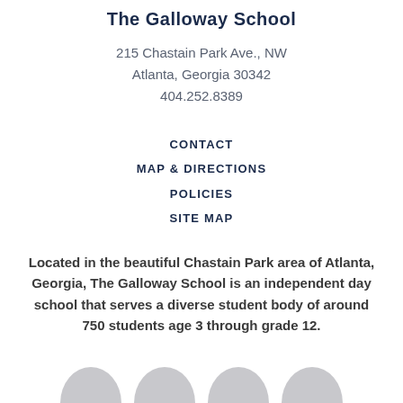The Galloway School
215 Chastain Park Ave., NW
Atlanta, Georgia 30342
404.252.8389
CONTACT
MAP & DIRECTIONS
POLICIES
SITE MAP
Located in the beautiful Chastain Park area of Atlanta, Georgia, The Galloway School is an independent day school that serves a diverse student body of around 750 students age 3 through grade 12.